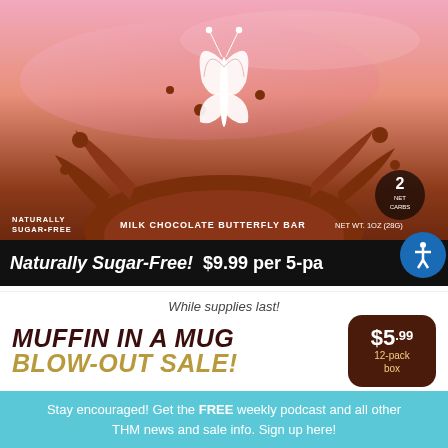[Figure (photo): Milk Chocolate Butterfly Bar product packaging showing chocolate splash with pink background, butterfly logo, 2 net carbs badge, 'NATURALLY SUGAR-FREE' label, product name 'MILK CHOCOLATE BUTTERFLY BAR', NET WT 1OZ (28G)]
Naturally Sugar-Free!  $9.99 per 5-pa[ck]
While supplies last!
MUFFIN IN A MUG BLOW-OUT SALE!
$5.99 12-pack box
[Figure (photo): Product thumbnail images of Muffin in a Mug boxes]
Stay encouraged! Get the FREE weekly podcast and all other THM news and sale info. Sign up here!